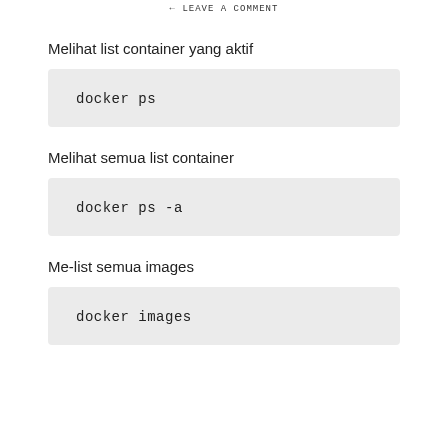← LEAVE A COMMENT
Melihat list container yang aktif
docker ps
Melihat semua list container
docker ps -a
Me-list semua images
docker images